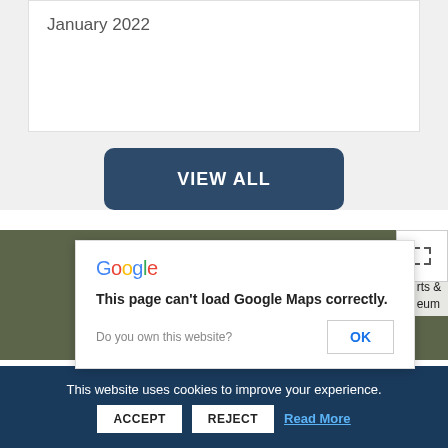January 2022
VIEW ALL
[Figure (map): Google Maps embed area showing a partial city/street map with colored overlay. A fullscreen icon button is visible in the top-right corner. Map labels partially visible including 'Arbo...' and 'rts & ... eum']
Google
This page can't load Google Maps correctly.
Do you own this website?
OK
This website uses cookies to improve your experience.
ACCEPT   REJECT   Read More